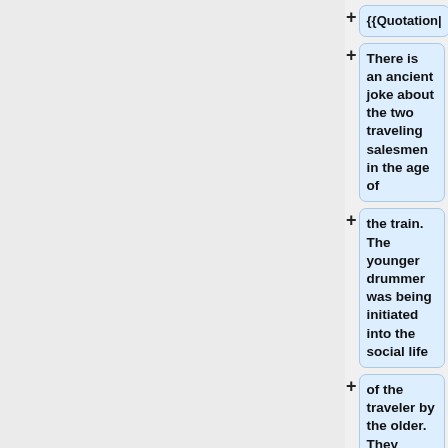{{Quotation|
There is an ancient joke about the two traveling salesmen in the age of
the train. The younger drummer was being initiated into the social life
of the traveler by the older. They proceeded to the smoking parlor on the
train, where a group of